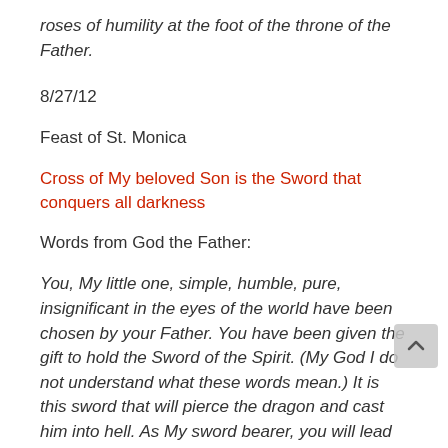roses of humility at the foot of the throne of the Father.
8/27/12
Feast of St. Monica
Cross of My beloved Son is the Sword that conquers all darkness
Words from God the Father:
You, My little one, simple, humble, pure, insignificant in the eyes of the world have been chosen by your Father. You have been given the gift to hold the Sword of the Spirit. (My God I do not understand what these words mean.) It is this sword that will pierce the dragon and cast him into hell. As My sword bearer, you will lead My army into battle. The Cross of My beloved Son is the Sword that conquers all darkness. You will form and raise up My army of victim souls, for it is they that possess the power